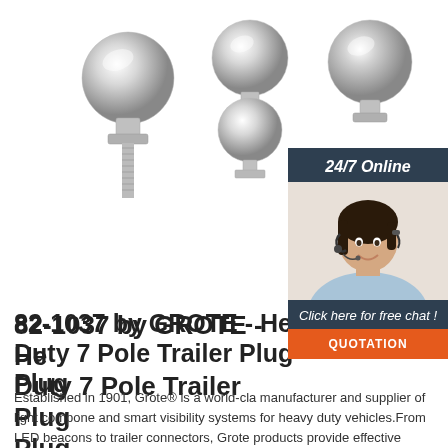[Figure (photo): Three chrome/silver hitch balls (trailer ball mounts) shown side by side: left is a single-shank ball, center is a double-ball stack, right is another style ball mount. White background product photos.]
[Figure (photo): Sidebar panel with dark navy background. Top text reads '24/7 Online'. Below is a photo of a smiling woman with dark hair wearing a headset/microphone (customer service representative). Below the photo is text 'Click here for free chat!' and an orange button labeled 'QUOTATION'.]
82-1037 by GROTE - Heavy Duty 7 Pole Trailer Plug Plug
Established in 1901, Grote® is a world-class manufacturer and supplier of light components and smart visibility systems for heavy duty vehicles.From LED beacons to trailer connectors, Grote products provide effective solutions and added value to its customers in the agricultural, construction, freight, and mining industries.